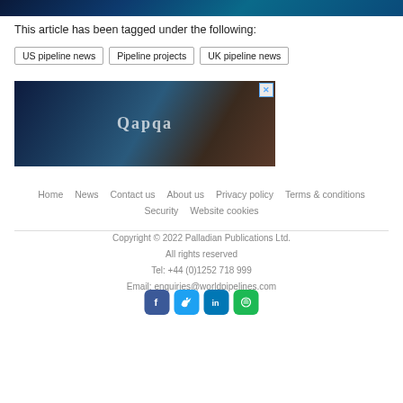[Figure (photo): Top banner image with dark blue/teal digital network background]
This article has been tagged under the following:
US pipeline news
Pipeline projects
UK pipeline news
[Figure (photo): Advertisement banner showing industrial/mechanical equipment with Qapqa branding and close button]
Home | News | Contact us | About us | Privacy policy | Terms & conditions | Security | Website cookies
Copyright © 2022 Palladian Publications Ltd.
All rights reserved
Tel: +44 (0)1252 718 999
Email: enquiries@worldpipelines.com
[Figure (other): Social media icons: Facebook, Twitter, LinkedIn, Spotify]